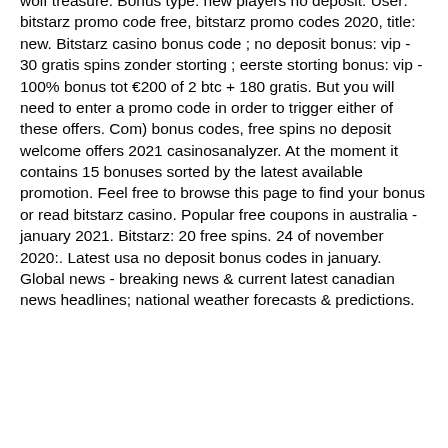wolf treasure. Bonus type: new players no deposit. User: bitstarz promo code free, bitstarz promo codes 2020, title: new. Bitstarz casino bonus code ; no deposit bonus: vip - 30 gratis spins zonder storting ; eerste storting bonus: vip - 100% bonus tot €200 of 2 btc + 180 gratis. But you will need to enter a promo code in order to trigger either of these offers. Com) bonus codes, free spins no deposit welcome offers 2021 casinosanalyzer. At the moment it contains 15 bonuses sorted by the latest available promotion. Feel free to browse this page to find your bonus or read bitstarz casino. Popular free coupons in australia -january 2021. Bitstarz: 20 free spins. 24 of november 2020:. Latest usa no deposit bonus codes in january. Global news - breaking news &amp; current latest canadian news headlines; national weather forecasts &amp; predictions.